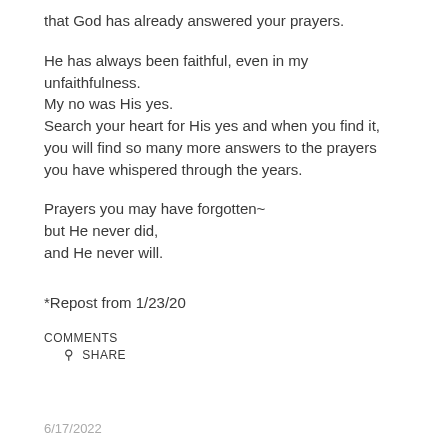that God has already answered your prayers.
He has always been faithful, even in my unfaithfulness.
My no was His yes.
Search your heart for His yes and when you find it, you will find so many more answers to the prayers you have whispered through the years.
Prayers you may have forgotten~
but He never did,
and He never will.
*Repost from 1/23/20
COMMENTS
SHARE
6/17/2022